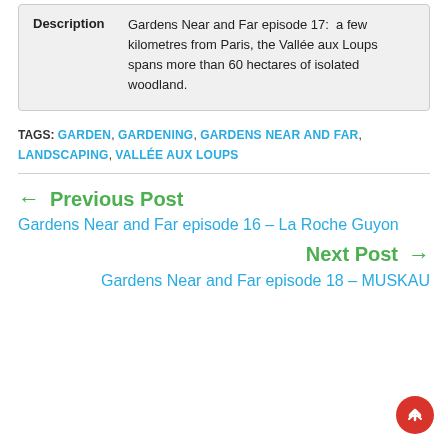| Field | Value |
| --- | --- |
| Description | Gardens Near and Far episode 17:  a few kilometres from Paris, the Vallée aux Loups spans more than 60 hectares of isolated woodland. |
TAGS: GARDEN, GARDENING, GARDENS NEAR AND FAR, LANDSCAPING, VALLÉE AUX LOUPS
← Previous Post
Gardens Near and Far episode 16 – La Roche Guyon
Next Post →
Gardens Near and Far episode 18 – MUSKAU